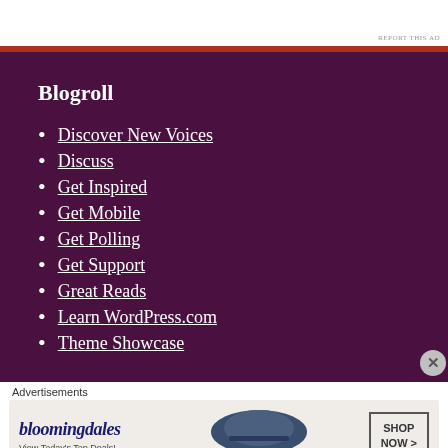REPORT THIS AD
Blogroll
Discover New Voices
Discuss
Get Inspired
Get Mobile
Get Polling
Get Support
Great Reads
Learn WordPress.com
Theme Showcase
Advertisements
[Figure (other): Bloomingdale's advertisement banner with logo, hat image, and Shop Now button. Text: bloomingdales, View Today's Top Deals!, SHOP NOW >]